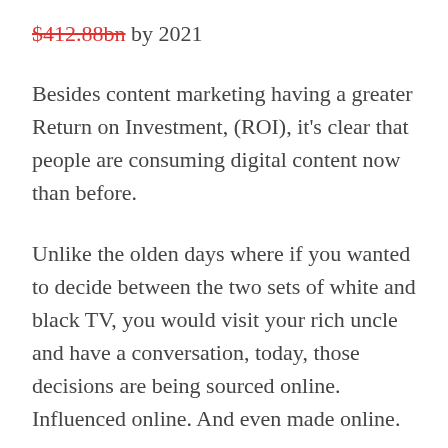$412.88bn by 2021
Besides content marketing having a greater Return on Investment, (ROI), it's clear that people are consuming digital content now than before.
Unlike the olden days where if you wanted to decide between the two sets of white and black TV, you would visit your rich uncle and have a conversation, today, those decisions are being sourced online. Influenced online. And even made online.